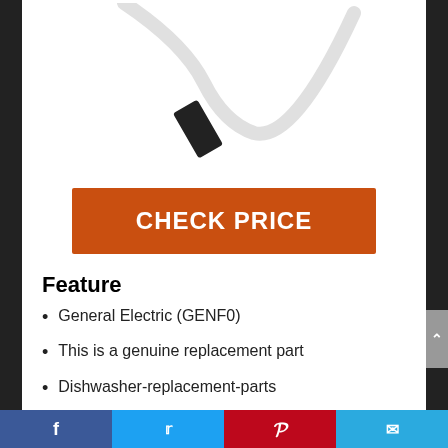[Figure (photo): Partial view of a white appliance part (wire/hose) with a black connector on a white background]
CHECK PRICE
Feature
General Electric (GENF0)
This is a genuine replacement part
Dishwasher-replacement-parts
Facebook | Twitter | Pinterest | Email